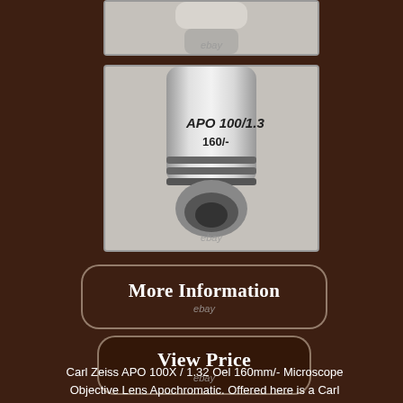[Figure (photo): Close-up photo of top portion of Carl Zeiss microscope objective lens, with ebay watermark]
[Figure (photo): Close-up photo of Carl Zeiss APO 100/1.32 Oel 160/- microscope objective lens body showing engraved text, with ebay watermark]
[Figure (other): More Information button with ebay watermark]
[Figure (other): View Price button with ebay watermark]
Carl Zeiss APO 100X / 1.32 Oel 160mm/- Microscope Objective Lens Apochromatic. Offered here is a Carl